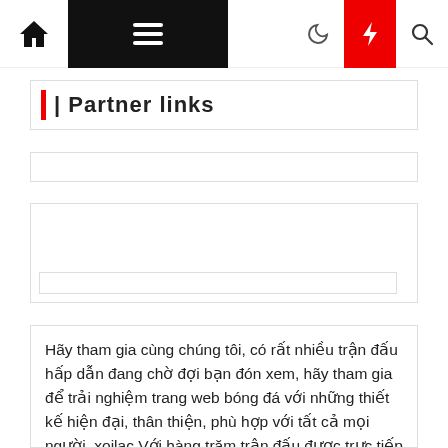Navigation bar with home, menu, moon, flash, search icons
| Partner links
Hãy tham gia cùng chúng tôi, có rất nhiều trận đấu hấp dẫn đang chờ đợi bạn đón xem, hãy tham gia để trải nghiệm trang web bóng đá với những thiết kế hiện đại, thân thiện, phù hợp với tất cả mọi người. xoilac Với hàng trăm trận đấu được trực tiếp hàng tuần, chúng tôi tự hào là một trong những trang Web lớn nhất Việt Nam về lượng người xem đông đảo, chất lượng ưu việt, Trang web Việt Nam vì